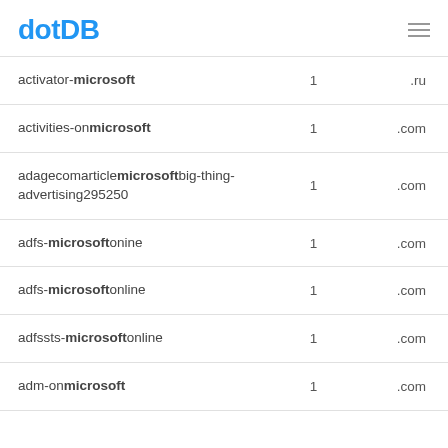dotDB
| Domain | Count | TLD |
| --- | --- | --- |
| activator-microsoft | 1 | .ru |
| activities-onmicrosoft | 1 | .com |
| adagecomarticlemicrosoftbig-thing-advertising295250 | 1 | .com |
| adfs-microsoftonine | 1 | .com |
| adfs-microsoftonline | 1 | .com |
| adfssts-microsoftonline | 1 | .com |
| adm-onmicrosoft | 1 | .com |